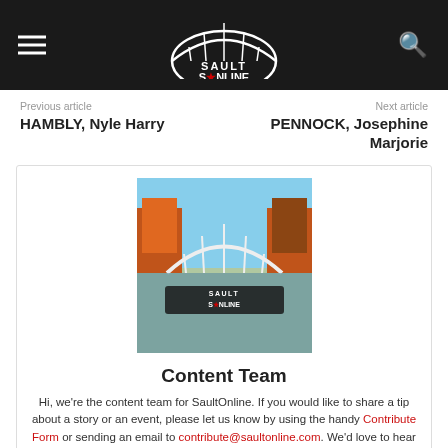SaultOnline - hamburger menu, logo, search icon
Previous article
HAMBLY, Nyle Harry
Next article
PENNOCK, Josephine Marjorie
[Figure (logo): SaultOnline logo with bridge arch over water and autumn trees]
Content Team
Hi, we're the content team for SaultOnline. If you would like to share a tip about a story or an event, please let us know by using the handy Contribute Form or sending an email to contribute@saultonline.com. We'd love to hear and share your side of our Naturally Gifted area! | Interested in contributing content on